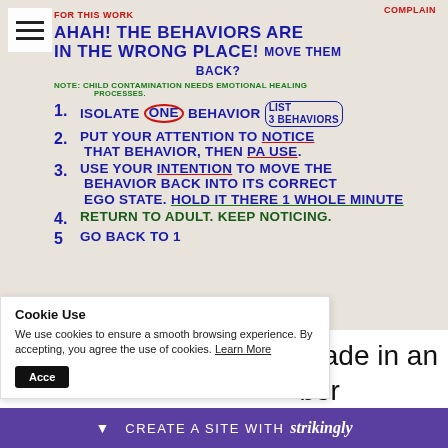[Figure (photo): Whiteboard with handwritten notes in blue and green marker. Top text in red: 'FOR THIS WORK' and 'COMPLAIN'. Large heading: 'AHAH! THE BEHAVIORS ARE IN THE WRONG PLACE? MOVE THEM BACK?' Note in green: 'NOTE: CHILD CONTAMINATION NEEDS EMOTIONAL HEALING PROCESSES'. Numbered list: 1. ISOLATE ONE BEHAVIOR (LIST 3 BEHAVIORS), 2. PUT YOUR ATTENTION TO NOTICE THAT BEHAVIOR, THEN PAUSE., 3. USE YOUR INTENTION TO MOVE THE BEHAVIOR BACK INTO ITS CORRECT EGO STATE. HOLD IT THERE 1 WHOLE MINUTE, 4. RETURN TO ADULT. KEEP NOTICING. 5. GO BACK TO 1]
made in an
ber
Cookie Use
We use cookies to ensure a smooth browsing experience. By accepting, you agree the use of cookies. Learn More
CREATE A SITE WITH strikingly